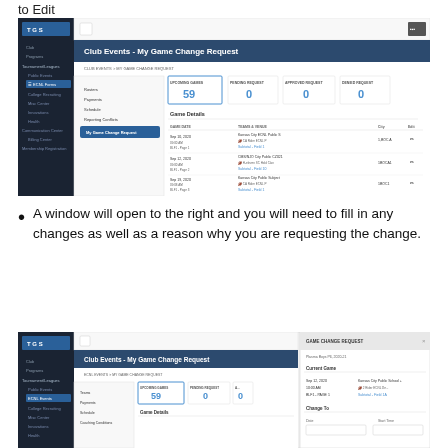to Edit
[Figure (screenshot): Screenshot of Club Events - My Game Change Request page showing a game management interface with a sidebar navigation (TGS), game details table with dates, teams, and edit icons, and summary boxes showing UPCOMING GAMES: 59, PENDING REQUEST: 0, APPROVED REQUEST: 0, DENIED REQUEST: 0]
A window will open to the right and you will need to fill in any changes as well as a reason why you are requesting the change.
[Figure (screenshot): Screenshot of Club Events - My Game Change Request page with a GAME CHANGE REQUEST panel opened on the right side showing Current Game details and Change To fields]